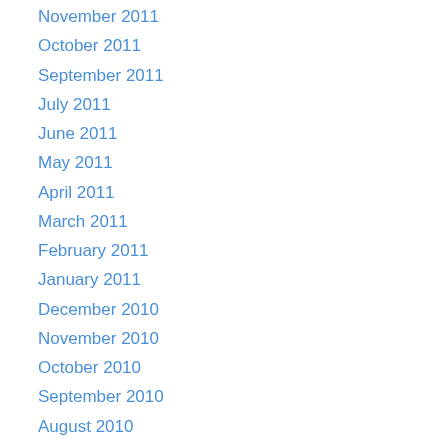November 2011
October 2011
September 2011
July 2011
June 2011
May 2011
April 2011
March 2011
February 2011
January 2011
December 2010
November 2010
October 2010
September 2010
August 2010
June 2010
May 2010
April 2010
March 2010
February 2010